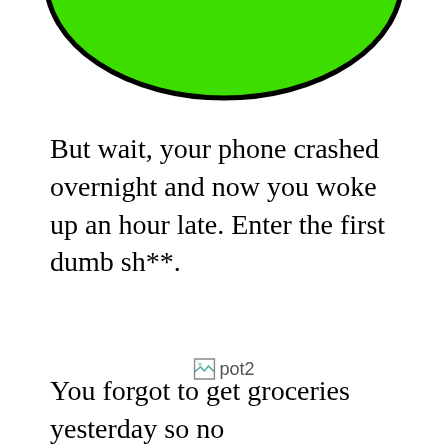[Figure (illustration): Bottom portion of a large green circle with a black outline, cropped at the top of the page]
But wait, your phone crashed overnight and now you woke up an hour late. Enter the first dumb sh**.
[Figure (other): Broken image placeholder labeled 'pot2']
You forgot to get groceries yesterday so no